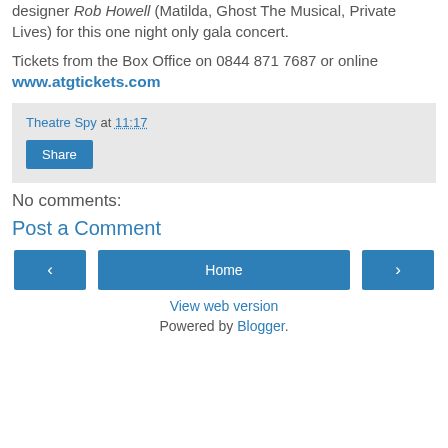designer Rob Howell (Matilda, Ghost The Musical, Private Lives) for this one night only gala concert.
Tickets from the Box Office on 0844 871 7687 or online www.atgtickets.com
Theatre Spy at 11:17
Share
No comments:
Post a Comment
< Home >
View web version
Powered by Blogger.